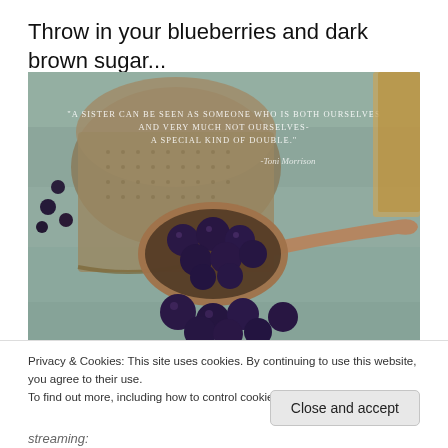Throw in your blueberries and dark brown sugar...
[Figure (photo): A copper/bronze measuring spoon filled with fresh blueberries on a light blue-grey wooden surface, with a large metal strainer/pot in the background. Overlaid text quote: '"A sister can be seen as someone who is both ourselves and very much not ourselves- a special kind of double." -Toni Morrison']
Privacy & Cookies: This site uses cookies. By continuing to use this website, you agree to their use.
To find out more, including how to control cookies, see here: Cookie Policy
Close and accept
streaming: